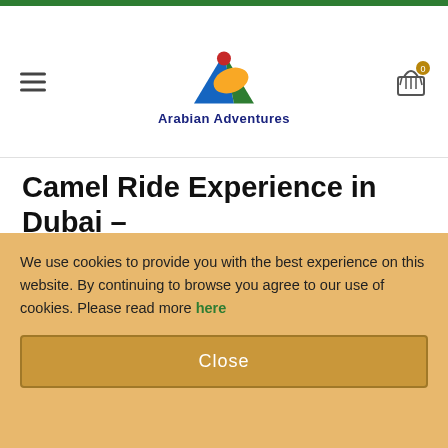[Figure (logo): Arabian Adventures logo with colorful triangle mountain and company name]
Camel Ride Experience in Dubai – Shared Vehicle
Date*
Date (input placeholder)
Adults  Children (from 5 to 11 years)  Infants (below 5 years)
We use cookies to provide you with the best experience on this website. By continuing to browse you agree to our use of cookies. Please read more here
Close